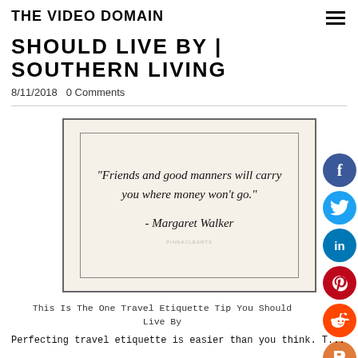THE VIDEO DOMAIN
SHOULD LIVE BY | SOUTHERN LIVING
8/11/2018   0 Comments
[Figure (illustration): Quote card with cream background and dark border containing italic text: "Friends and good manners will carry you where money won't go." - Margaret Walker]
This Is The One Travel Etiquette Tip You Should Live By
Perfecting travel etiquette is easier than you think. T...